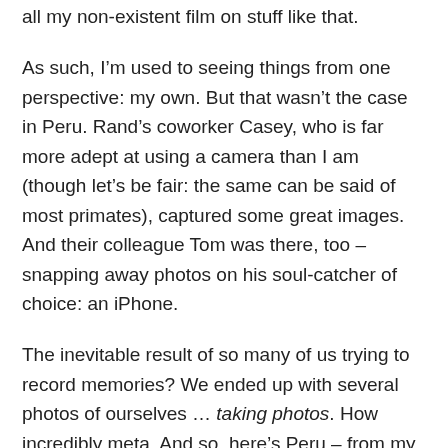all my non-existent film on stuff like that.
As such, I'm used to seeing things from one perspective: my own. But that wasn't the case in Peru. Rand's coworker Casey, who is far more adept at using a camera than I am (though let's be fair: the same can be said of most primates), captured some great images. And their colleague Tom was there, too – snapping away photos on his soul-catcher of choice: an iPhone.
The inevitable result of so many of us trying to record memories? We ended up with several photos of ourselves … taking photos. How incredibly meta. And so, here's Peru – from my point of view